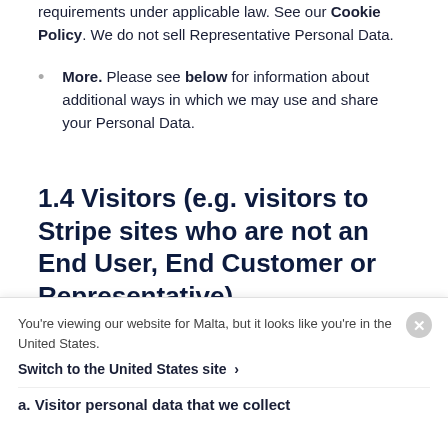requirements under applicable law. See our Cookie Policy. We do not sell Representative Personal Data.
More. Please see below for information about additional ways in which we may use and share your Personal Data.
1.4 Visitors (e.g. visitors to Stripe sites who are not an End User, End Customer or Representative)
You're viewing our website for Malta, but it looks like you're in the United States. Switch to the United States site ›
a. Visitor personal data that we collect